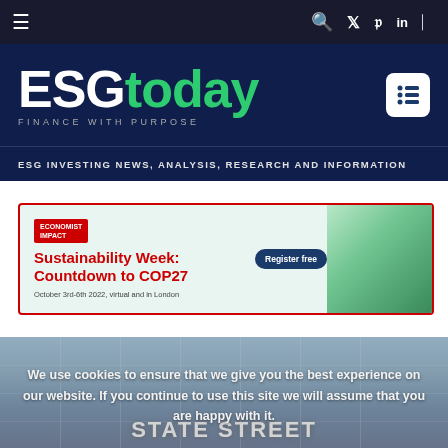ESGtoday — FINANCE WITH PURPOSE — ESG INVESTING NEWS, ANALYSIS, RESEARCH AND INFORMATION
[Figure (screenshot): Advertisement banner for Economist Impact Sustainability Week: Countdown to COP27, October 3rd-6th 2022, virtual and in London, with Register free button and green leaf background image]
[Figure (photo): State Street building exterior sign against blue sky with glass facade]
We use cookies to ensure that we give you the best experience on our website. If you continue to use this site we will assume that you are happy with it.